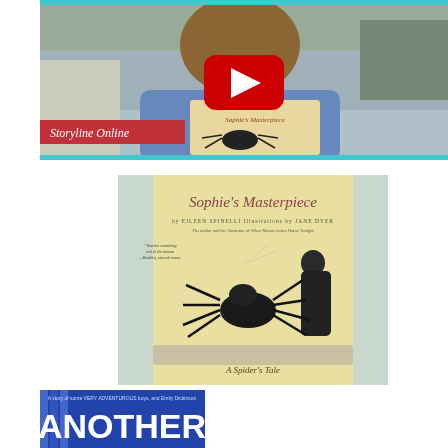[Figure (screenshot): YouTube video thumbnail showing a man holding Sophie's Masterpiece book with Storyline Online branding and YouTube play button overlay]
[Figure (photo): Book cover of Sophie's Masterpiece by Eileen Spinelli, illustrated by Jane Dyer. Shows a large black spider weaving, titled 'A Spider's Tale' at the bottom. Yellow background with curtain borders.]
[Figure (photo): Partial view of another book cover showing the word ANOTHER in large letters]